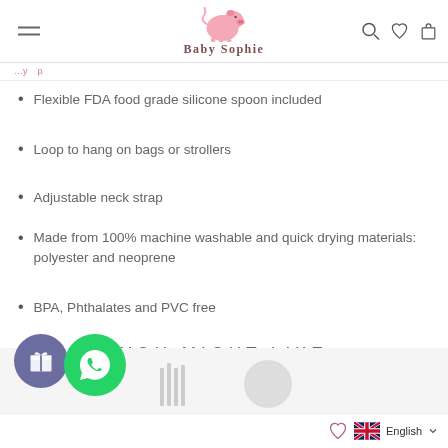Baby Sophie
Flexible FDA food grade silicone spoon included
Loop to hang on bags or strollers
Adjustable neck strap
Made from 100% machine washable and quick drying materials: polyester and neoprene
BPA, Phthalates and PVC free
YOU MIGHT LIKE
English